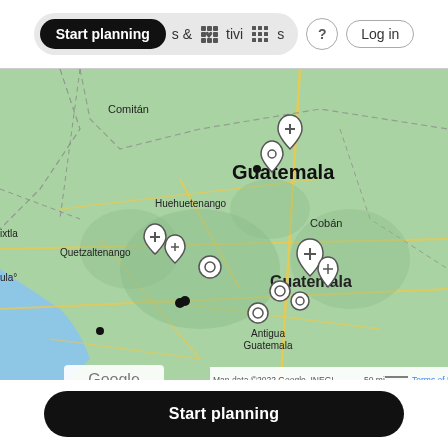Start planning  &  Activities  ?  Log in
[Figure (map): Google Maps screenshot showing Guatemala and surrounding region. Visible cities include: Comitán (top left), Huehuetenango, Quetzaltenango, Cobán, Guatemala (city), Antigua Guatemala, Santa Ana, San Pe(dro). Map markers (location pins) are shown at Guatemala City and Quetzaltenango areas. A zoom control (+/-) is visible in the bottom right. Map attribution: Map data ©2022 Google, INEGI | 50 mi | Terms of Use]
Map data ©2022 Google, INEGI   50 mi   Terms of Use
Start planning